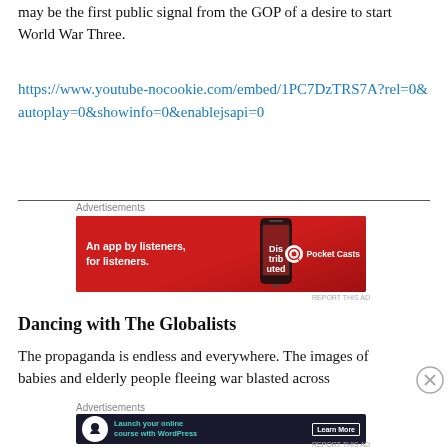may be the first public signal from the GOP of a desire to start World War Three.
https://www.youtube-nocookie.com/embed/1PC7DzTRS7A?rel=0&autoplay=0&showinfo=0&enablejsapi=0
[Figure (infographic): Red advertisement banner for Pocket Casts app: 'An app by listeners, for listeners.' with Pocket Casts logo and phone image]
Dancing with The Globalists
The propaganda is endless and everywhere. The images of babies and elderly people fleeing war blasted across
[Figure (infographic): Dark advertisement banner: 'Launch your online course with WordPress' with Learn More button]